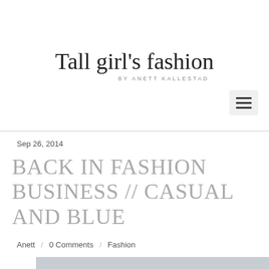Tall girl's fashion BY ANETT KALLESTAD
Sep 26, 2014
BACK IN FASHION BUSINESS // CASUAL AND BLUE
Anett / 0 Comments / Fashion